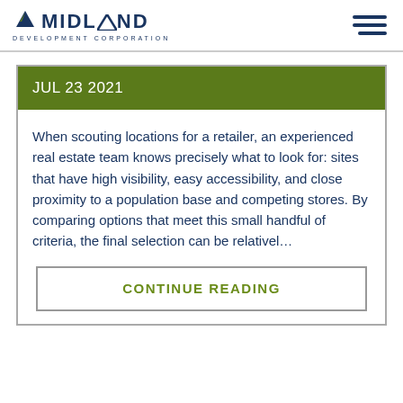MIDLAND DEVELOPMENT CORPORATION
JUL 23 2021
When scouting locations for a retailer, an experienced real estate team knows precisely what to look for: sites that have high visibility, easy accessibility, and close proximity to a population base and competing stores. By comparing options that meet this small handful of criteria, the final selection can be relativel…
CONTINUE READING